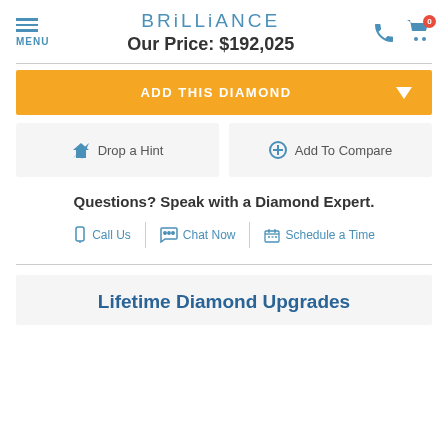MENU | BRILLIANCE | Our Price: $192,025
ADD THIS DIAMOND
Drop a Hint
Add To Compare
Questions? Speak with a Diamond Expert.
Call Us | Chat Now | Schedule a Time
Lifetime Diamond Upgrades